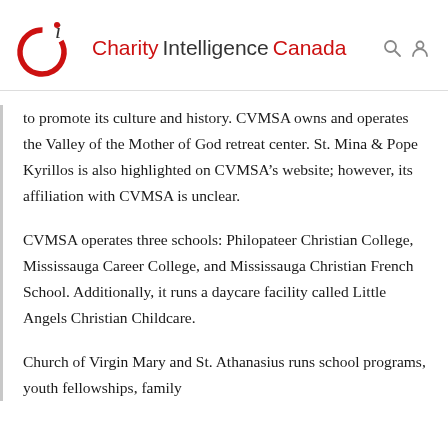Charity Intelligence Canada
to promote its culture and history. CVMSA owns and operates the Valley of the Mother of God retreat center. St. Mina & Pope Kyrillos is also highlighted on CVMSA's website; however, its affiliation with CVMSA is unclear.
CVMSA operates three schools: Philopateer Christian College, Mississauga Career College, and Mississauga Christian French School. Additionally, it runs a daycare facility called Little Angels Christian Childcare.
Church of Virgin Mary and St. Athanasius runs school programs, youth fellowships, family